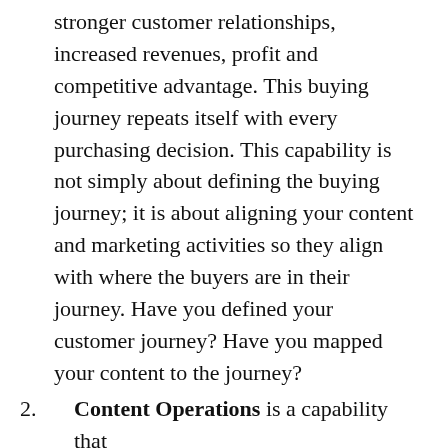stronger customer relationships, increased revenues, profit and competitive advantage. This buying journey repeats itself with every purchasing decision. This capability is not simply about defining the buying journey; it is about aligning your content and marketing activities so they align with where the buyers are in their journey. Have you defined your customer journey? Have you mapped your content to the journey?
Content Operations is a capability that supports the production, collection, management, publishing and measurement of customer or prospect-oriented information in any form or medium. Marketing manages content to support